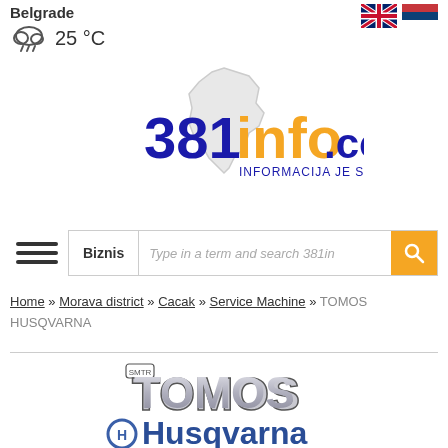Belgrade
25 °C
[Figure (logo): 381info.com logo with Serbia map outline and tagline INFORMACIJA JE SVE!]
Biznis | Type in a term and search 381in
Home » Morava district » Cacak » Service Machine » TOMOS HUSQVARNA
[Figure (logo): TOMOS Husqvarna brand logo]